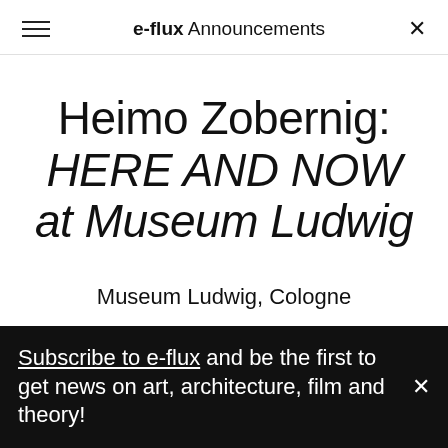e-flux Announcements
Heimo Zobernig: HERE AND NOW at Museum Ludwig
Museum Ludwig, Cologne
Subscribe to e-flux and be the first to get news on art, architecture, film and theory!